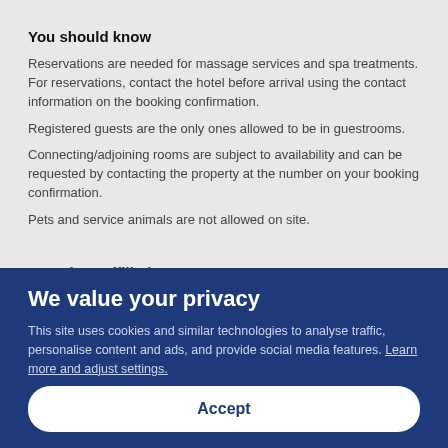You should know
Reservations are needed for massage services and spa treatments. For reservations, contact the hotel before arrival using the contact information on the booking confirmation.
Registered guests are the only ones allowed to be in guestrooms.
Connecting/adjoining rooms are subject to availability and can be requested by contacting the property at the number on your booking confirmation.
Pets and service animals are not allowed on site.
Awards & Affiliations
We value your privacy
This site uses cookies and similar technologies to analyse traffic, personalise content and ads, and provide social media features. Learn more and adjust settings.
Accept